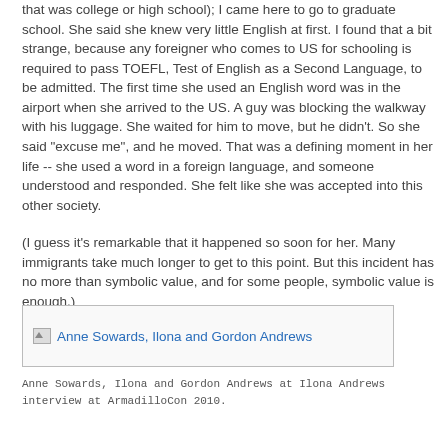that was college or high school); I came here to go to graduate school. She said she knew very little English at first. I found that a bit strange, because any foreigner who comes to US for schooling is required to pass TOEFL, Test of English as a Second Language, to be admitted. The first time she used an English word was in the airport when she arrived to the US. A guy was blocking the walkway with his luggage. She waited for him to move, but he didn't. So she said "excuse me", and he moved. That was a defining moment in her life -- she used a word in a foreign language, and someone understood and responded. She felt like she was accepted into this other society.
(I guess it's remarkable that it happened so soon for her. Many immigrants take much longer to get to this point. But this incident has no more than symbolic value, and for some people, symbolic value is enough.)
[Figure (photo): Image placeholder: Anne Sowards, Ilona and Gordon Andrews]
Anne Sowards, Ilona and Gordon Andrews at Ilona Andrews interview at ArmadilloCon 2010.